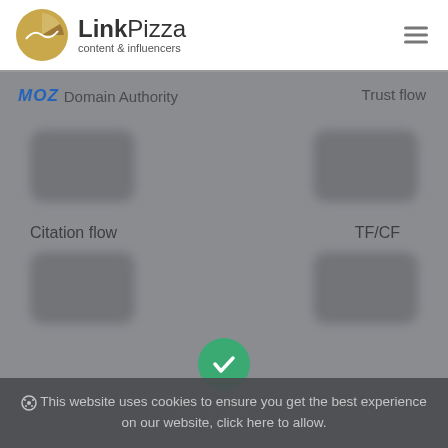[Figure (logo): LinkPizza logo with golden pie-chart icon and text 'LinkPizza content & influencers']
MOZ Domain Authority
Trust flow
Citation flow
TF/CF
[Figure (other): Green circular checkmark button]
Verified
This website uses cookies to ensure you get the best experience on our website, click here to allow.